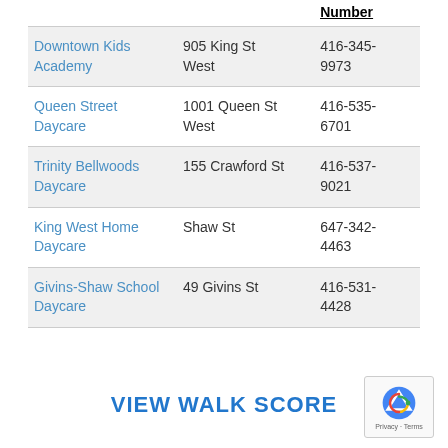|  |  | Number |
| --- | --- | --- |
| Downtown Kids Academy | 905 King St West | 416-345-9973 |
| Queen Street Daycare | 1001 Queen St West | 416-535-6701 |
| Trinity Bellwoods Daycare | 155 Crawford St | 416-537-9021 |
| King West Home Daycare | Shaw St | 647-342-4463 |
| Givins-Shaw School Daycare | 49 Givins St | 416-531-4428 |
VIEW WALK SCORE